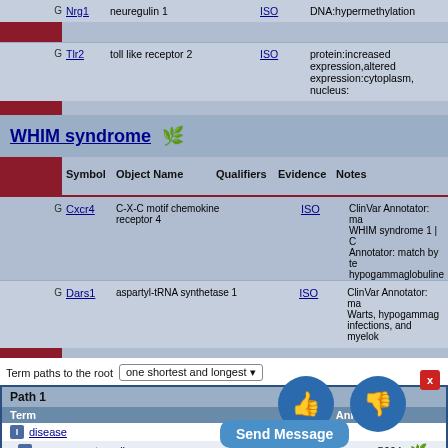|  | Symbol | Object Name | Qualifiers | Evidence | Notes |
| --- | --- | --- | --- | --- | --- |
| G | Nrg1 | neuregulin 1 |  | ISO | DNA:hypermethylation |
| G | Tlr2 | toll like receptor 2 |  | ISO | protein:increased expression,altered expression:cytoplasm, nucleus: |
WHIM syndrome
| Symbol | Object Name | Qualifiers | Evidence | Notes |
| --- | --- | --- | --- | --- |
| Cxcr4 | C-X-C motif chemokine receptor 4 |  | ISO | ClinVar Annotator: match by WHIM syndrome 1 | ClinVar Annotator: match by term hypogammaglobulinemia, infections, and myelok |
| Dars1 | aspartyl-tRNA synthetase 1 |  | ISO | ClinVar Annotator: match by Warts, hypogammaglobulinemia, infections, and myelok |
Term paths to the root
| Term | Annotations |
| --- | --- |
| disease |  |
| sensory system disease | 5664 |
| skin disease | 3369 |
[Figure (other): Thumbs up and thumbs down feedback buttons with close X button and Send Message dialog overlay]